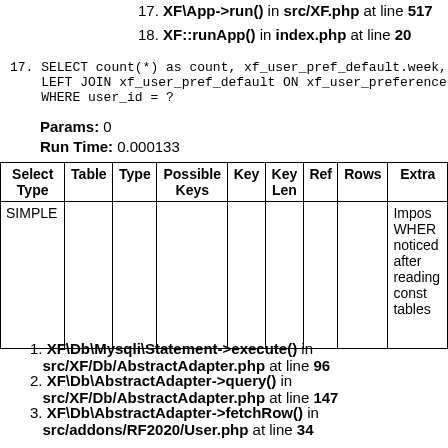17. XF\App->run() in src/XF.php at line 517
18. XF::runApp() in index.php at line 20
17. SELECT count(*) as count, xf_user_pref_default.week,
    LEFT JOIN xf_user_pref_default ON xf_user_preference
    WHERE user_id = ?
Params: 0
Run Time: 0.000133
| Select Type | Table | Type | Possible Keys | Key | Key Len | Ref | Rows | Extra |
| --- | --- | --- | --- | --- | --- | --- | --- | --- |
| SIMPLE |  |  |  |  |  |  |  | Impos WHERE noticed after reading const tables |
1. XF\Db\Mysqli\Statement->execute() in src/XF/Db/AbstractAdapter.php at line 96
2. XF\Db\AbstractAdapter->query() in src/XF/Db/AbstractAdapter.php at line 147
3. XF\Db\AbstractAdapter->fetchRow() in src/addons/RF2020/User.php at line 34